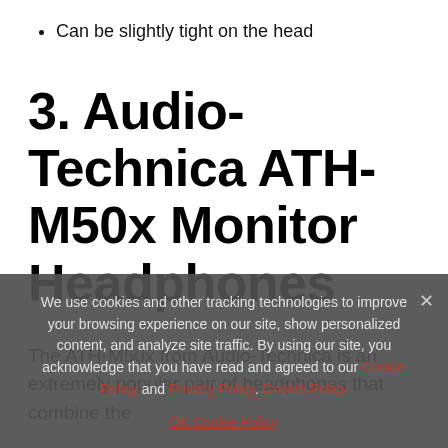Can be slightly tight on the head
3. Audio-Technica ATH-M50x Monitor Headphones
The ATH-M50x from Audio-Technica is an extremely popular pair of headphones that combine the
We use cookies and other tracking technologies to improve your browsing experience on our site, show personalized content, and analyze site traffic. By using our site, you acknowledge that you have read and agreed to our Cookie Policy and Privacy Policy. Cookie Policy
OK Cookie Policy